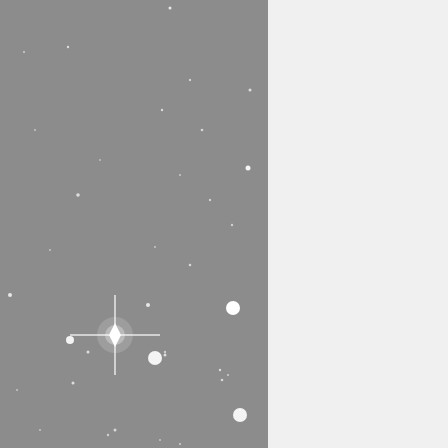[Figure (photo): Astronomical/star field image on gray background with various stars and a bright four-pointed star burst in the lower center portion of the image]
Th
I have no idea why he was pa appears in conceptual art of t without a head for some reas
I once took a poll in the vinta